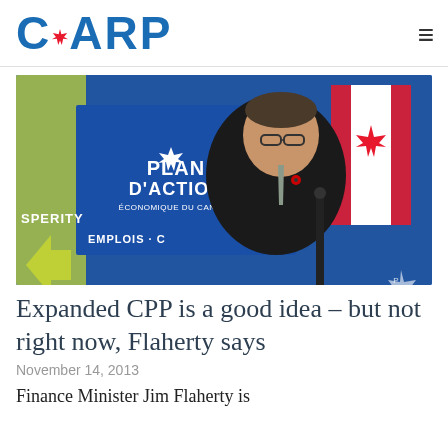CARP
[Figure (photo): Finance Minister Jim Flaherty speaking at a podium in front of a blue banner reading 'Plan d'Action Économique du Canada' and 'Emplois', with a Canadian maple leaf flag visible in the background.]
Expanded CPP is a good idea – but not right now, Flaherty says
November 14, 2013
Finance Minister Jim Flaherty is